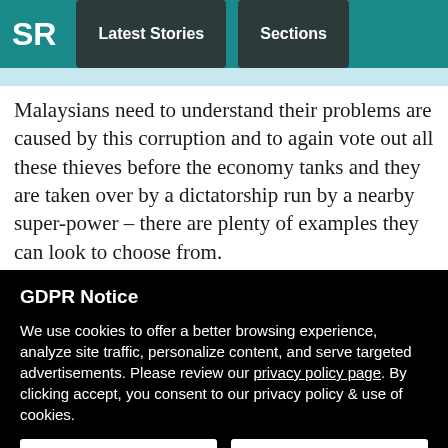SR  Latest Stories  Sections
Malaysians need to understand their problems are caused by this corruption and to again vote out all these thieves before the economy tanks and they are taken over by a dictatorship run by a nearby super-power – there are plenty of examples they can look to choose from.
GDPR Notice
We use cookies to offer a better browsing experience, analyze site traffic, personalize content, and serve targeted advertisements. Please review our privacy policy page. By clicking accept, you consent to our privacy policy & use of cookies.
Preferences  |  Confirm all